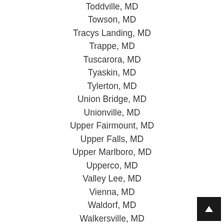Toddville, MD
Towson, MD
Tracys Landing, MD
Trappe, MD
Tuscarora, MD
Tyaskin, MD
Tylerton, MD
Union Bridge, MD
Unionville, MD
Upper Fairmount, MD
Upper Falls, MD
Upper Marlboro, MD
Upperco, MD
Valley Lee, MD
Vienna, MD
Waldorf, MD
Walkersville, MD
Warwick, MD